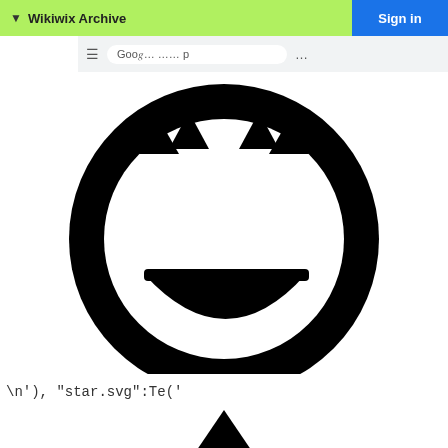▼ Wikiwix Archive
[Figure (screenshot): Browser bar with Goo... URL and Sign in button]
[Figure (illustration): Large black smiley face icon with open grin and crown-like top, on white background]
\n'), "star.svg":Te('
[Figure (illustration): Black triangle/star shape at bottom center]